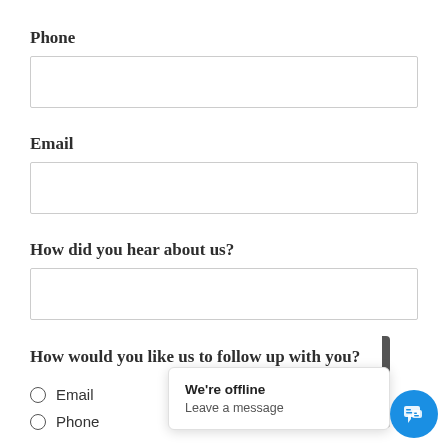Phone
[Figure (other): Empty text input field for Phone]
Email
[Figure (other): Empty text input field for Email]
How did you hear about us?
[Figure (other): Empty text input field for How did you hear about us]
How would you like us to follow up with you?
Email
Phone
[Figure (screenshot): Chat widget popup showing 'We're offline' and 'Leave a message' with a blue chat button icon]